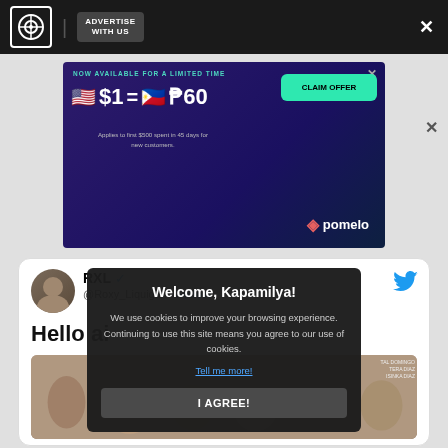ADVERTISE WITH US
[Figure (screenshot): Advertisement banner: NOW AVAILABLE FOR A LIMITED TIME. $1 = ₱60. CLAIM OFFER. Applies to first $500 spent in 45 days for new customers. pomelo]
[Figure (screenshot): Tweet card by RXL @Roxy_Liquigan with Follow button. Tweet text: Hello ai... with group photo image below.]
Welcome, Kapamilya!
We use cookies to improve your browsing experience.
Continuing to use this site means you agree to our use of cookies.
Tell me more!
I AGREE!